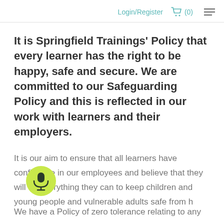Login/Register  (0)
It is Springfield Trainings' Policy that every learner has the right to be happy, safe and secure. We are committed to our Safeguarding Policy and this is reflected in our work with learners and their employers.
It is our aim to ensure that all learners have confidence in our employees and believe that they will do everything they can to keep children and young people and vulnerable adults safe from h
[Figure (illustration): Yellow-green circular microphone button with microphone icon]
We have a Policy of zero tolerance relating to any